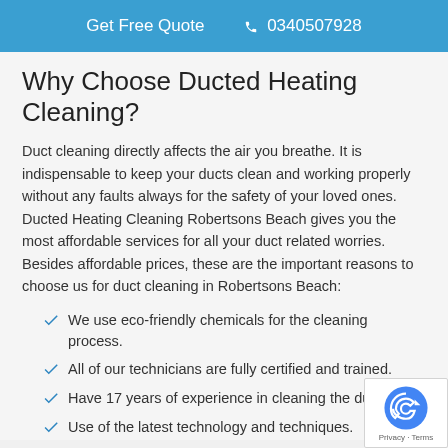Get Free Quote  0340507928
Why Choose Ducted Heating Cleaning?
Duct cleaning directly affects the air you breathe. It is indispensable to keep your ducts clean and working properly without any faults always for the safety of your loved ones. Ducted Heating Cleaning Robertsons Beach gives you the most affordable services for all your duct related worries. Besides affordable prices, these are the important reasons to choose us for duct cleaning in Robertsons Beach:
We use eco-friendly chemicals for the cleaning process.
All of our technicians are fully certified and trained.
Have 17 years of experience in cleaning the duct.
Use of the latest technology and techniques.